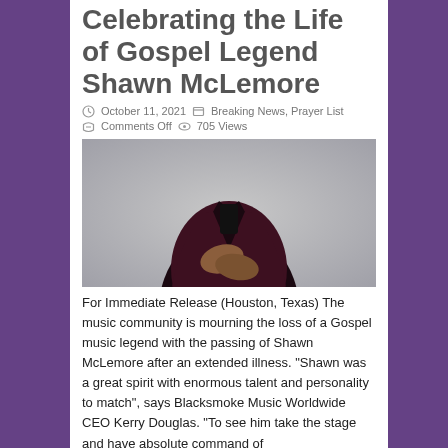Celebrating the Life of Gospel Legend Shawn McLemore
October 11, 2021   Breaking News, Prayer List   Comments Off   705 Views
[Figure (photo): Photo of Shawn McLemore wearing a dark red patterned blazer, hands crossed over chest, against a light grey background]
For Immediate Release (Houston, Texas) The music community is mourning the loss of a Gospel music legend with the passing of Shawn McLemore after an extended illness. “Shawn was a great spirit with enormous talent and personality to match”, says Blacksmoke Music Worldwide CEO Kerry Douglas. “To see him take the stage and have absolute command of